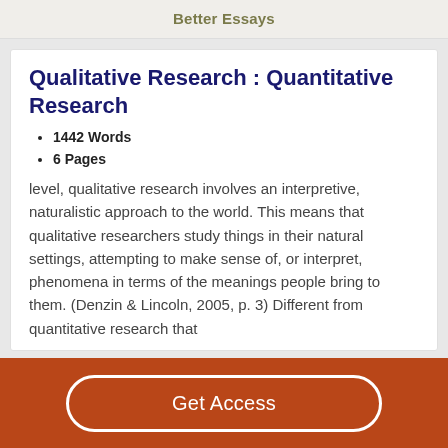Better Essays
Qualitative Research : Quantitative Research
1442 Words
6 Pages
level, qualitative research involves an interpretive, naturalistic approach to the world. This means that qualitative researchers study things in their natural settings, attempting to make sense of, or interpret, phenomena in terms of the meanings people bring to them. (Denzin & Lincoln, 2005, p. 3) Different from quantitative research that
Get Access